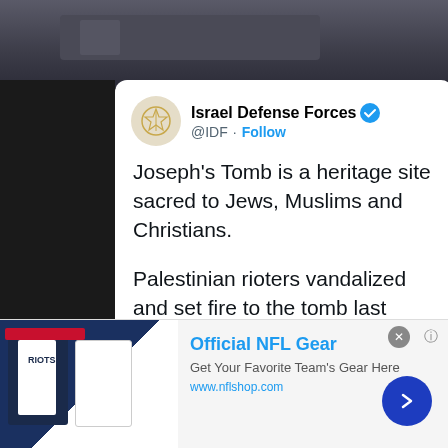[Figure (screenshot): Top portion of a webpage showing a dark banner/photo strip at the top with a room interior visible]
Israel Defense Forces @IDF · Follow
Joseph's Tomb is a heritage site sacred to Jews, Muslims and Christians.

Palestinian rioters vandalized and set fire to the tomb last night.

A religious site should never be a place for violence.
[Figure (screenshot): Advertisement banner for Official NFL Gear showing NFL jerseys and a link to nflshop.com]